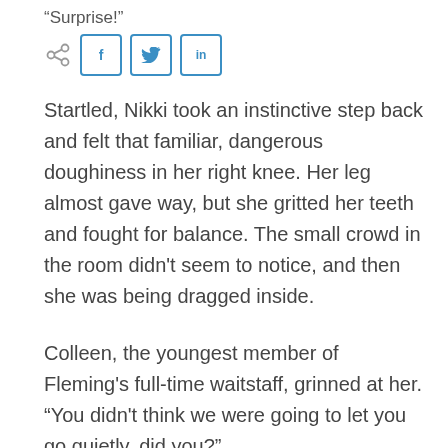“Surprise!”
[Figure (other): Social sharing bar with share icon, Facebook (f), Twitter (bird), and LinkedIn (in) buttons]
Startled, Nikki took an instinctive step back and felt that familiar, dangerous doughiness in her right knee. Her leg almost gave way, but she gritted her teeth and fought for balance. The small crowd in the room didn’t seem to notice, and then she was being dragged inside.
Colleen, the youngest member of Fleming’s full-time waitstaff, grinned at her. “You didn’t think we were going to let you go quietly, did you?”
Nikki had really hoped so. She didn’t know how much longer she could remain upright on her listing leg.